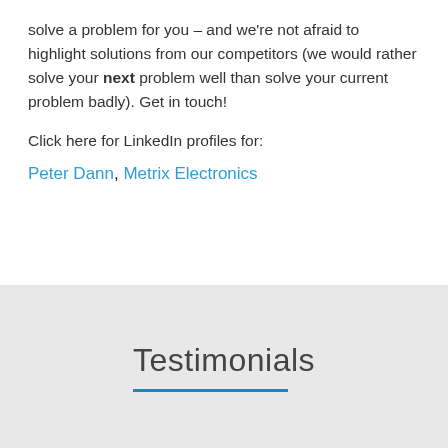solve a problem for you – and we're not afraid to highlight solutions from our competitors (we would rather solve your next problem well than solve your current problem badly).  Get in touch!
Click here for LinkedIn profiles for:
Peter Dann, Metrix Electronics
Testimonials